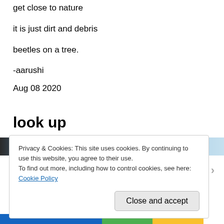get close to nature
it is just dirt and debris
beetles on a tree.
-aarushi
Aug 08 2020
look up
[Figure (photo): Partial view of a nature/sky photo, partially obscured by cookie banner]
Privacy & Cookies: This site uses cookies. By continuing to use this website, you agree to their use.
To find out more, including how to control cookies, see here:
Cookie Policy
Close and accept